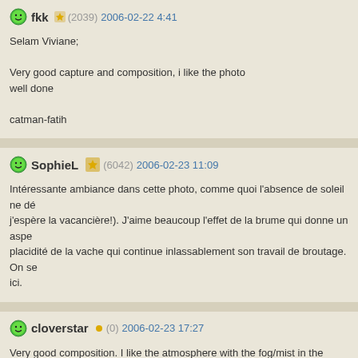fkk (2039) 2006-02-22 4:41
Selam Viviane;

Very good capture and composition, i like the photo well done

catman-fatih
SophieL (6042) 2006-02-23 11:09
Intéressante ambiance dans cette photo, comme quoi l'absence de soleil ne dé... j'espère la vacancière!). J'aime beaucoup l'effet de la brume qui donne un aspe... placidité de la vache qui continue inlassablement son travail de broutage. On se... ici.
cloverstar (0) 2006-02-23 17:27
Very good composition. I like the atmosphere with the fog/mist in the backgroun... caravan parked here. Wish I could join you.
cam (9042) 2006-02-27 18:21